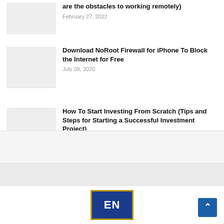are the obstacles to working remotely)
February 27, 2022
Download NoRoot Firewall for iPhone To Block the Internet for Free
July 08, 2020
How To Start Investing From Scratch (Tips and Steps for Starting a Successful Investment Project)
December 22, 2021
[Figure (logo): EN logo — white letters on dark blue background with gold border]
Scroll to top button